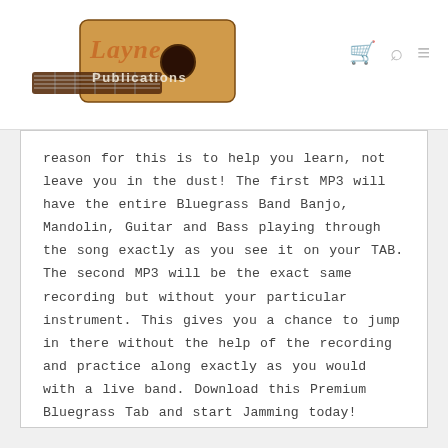[Figure (logo): Layne Publications logo with guitar image and stylized text]
reason for this is to help you learn, not leave you in the dust! The first MP3 will have the entire Bluegrass Band Banjo, Mandolin, Guitar and Bass playing through the song exactly as you see it on your TAB. The second MP3 will be the exact same recording but without your particular instrument. This gives you a chance to jump in there without the help of the recording and practice along exactly as you would with a live band. Download this Premium Bluegrass Tab and start Jamming today!